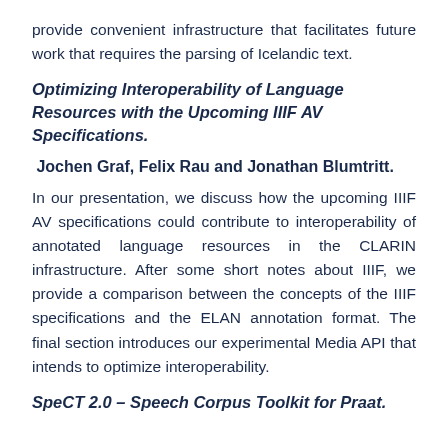provide convenient infrastructure that facilitates future work that requires the parsing of Icelandic text.
Optimizing Interoperability of Language Resources with the Upcoming IIIF AV Specifications.
Jochen Graf, Felix Rau and Jonathan Blumtritt.
In our presentation, we discuss how the upcoming IIIF AV specifications could contribute to interoperability of annotated language resources in the CLARIN infrastructure. After some short notes about IIIF, we provide a comparison between the concepts of the IIIF specifications and the ELAN annotation format. The final section introduces our experimental Media API that intends to optimize interoperability.
SpeCT 2.0 – Speech Corpus Toolkit for Praat.